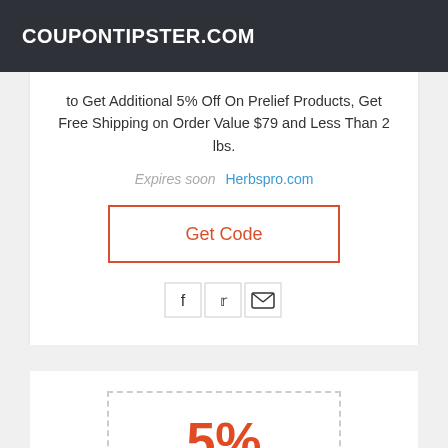COUPONTIPSTER.COM
to Get Additional 5% Off On Prelief Products, Get Free Shipping on Order Value $79 and Less Than 2 lbs.
Expires soon   Herbspro.com
Get Code
[Figure (other): Social share icons for Facebook, Twitter, and Email]
5%
off